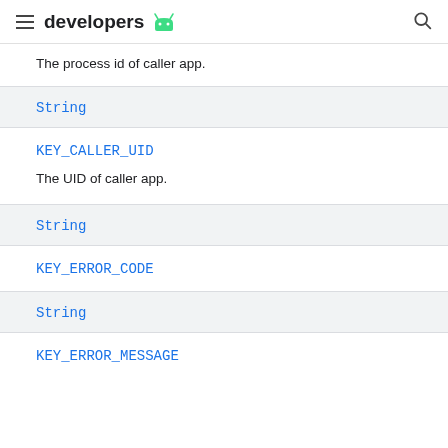developers
The process id of caller app.
String
KEY_CALLER_UID
The UID of caller app.
String
KEY_ERROR_CODE
String
KEY_ERROR_MESSAGE